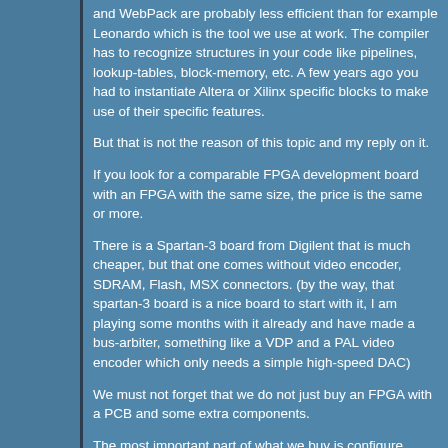and WebPack are probably less efficient than for example Leonardo which is the tool we use at work. The compiler has to recognize structures in your code like pipelines, lookup-tables, block-memory, etc. A few years ago you had to instantiate Altera or Xilinx specific blocks to make use of their specific features.
But that is not the reason of this topic and my reply on it.
If you look for a comparable FPGA development board with an FPGA with the same size, the price is the same or more.
There is a Spartan-3 board from Digilent that is much cheaper, but that one comes without video encoder, SDRAM, Flash, MSX connectors. (by the way, that spartan-3 board is a nice board to start with it, I am playing some months with it already and have made a bus-arbiter, something like a VDP and a PAL video encoder which only needs a simple high-speed DAC)
We must not forget that we do not just buy an FPGA with a PCB and some extra components.
The most important part of what we buy is configure...